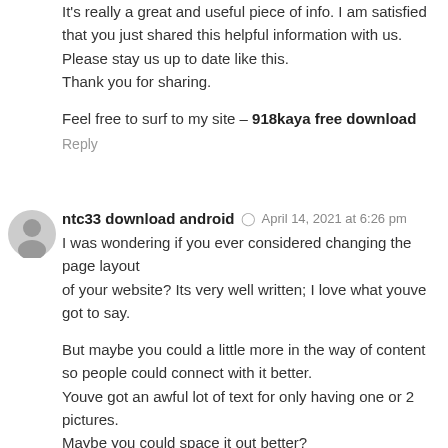It's really a great and useful piece of info. I am satisfied that you just shared this helpful information with us. Please stay us up to date like this.
Thank you for sharing.
Feel free to surf to my site – 918kaya free download
Reply
ntc33 download android   April 14, 2021 at 6:26 pm
I was wondering if you ever considered changing the page layout of your website? Its very well written; I love what youve got to say.

But maybe you could a little more in the way of content so people could connect with it better.
Youve got an awful lot of text for only having one or 2 pictures.
Maybe you could space it out better?
my blog :: ntc33 download android
Reply